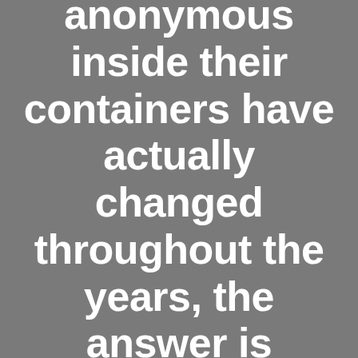anonymous inside their containers have actually changed throughout the years, the answer is